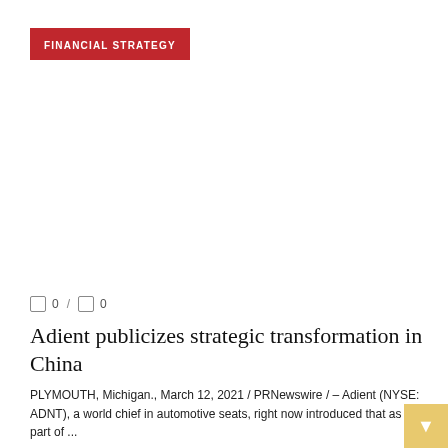FINANCIAL STRATEGY
🔔 0 / 🔔 0
Adient publicizes strategic transformation in China
PLYMOUTH, Michigan., March 12, 2021 / PRNewswire / – Adient (NYSE: ADNT), a world chief in automotive seats, right now introduced that as a part of ...